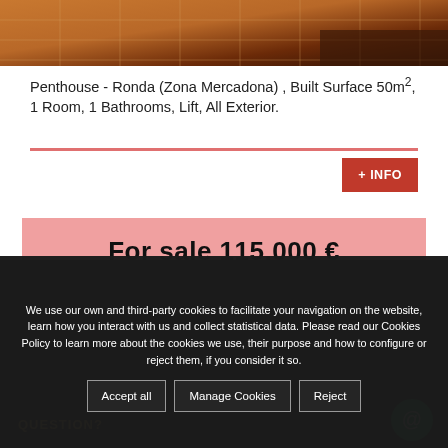[Figure (photo): Tiled floor photo showing terracotta and dark wood tiles pattern]
Penthouse - Ronda (Zona Mercadona) , Built Surface 50m², 1 Room, 1 Bathrooms, Lift, All Exterior.
+ INFO
For sale 115.000 €
We use our own and third-party cookies to facilitate your navigation on the website, learn how you interact with us and collect statistical data. Please read our Cookies Policy to learn more about the cookies we use, their purpose and how to configure or reject them, if you consider it so.
Accept all
Manage Cookies
Reject
QUESTION?